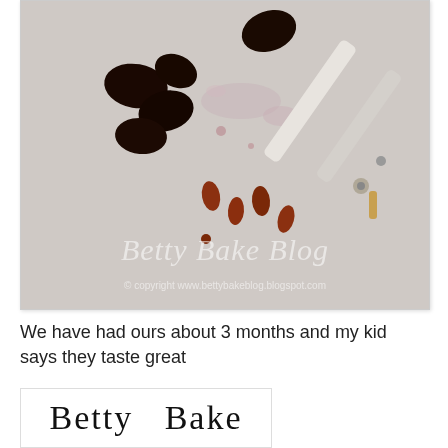[Figure (photo): Close-up photo of dark olives/cherries and red pits/seeds scattered on a white surface next to a metal cherry pitter tool. Watermark reads 'Betty Bake Blog' and '© copyright www.bettybakeblog.blogspot.com']
We have had ours about 3 months and my kid says they taste great
[Figure (logo): Betty Bake logo in cursive script]